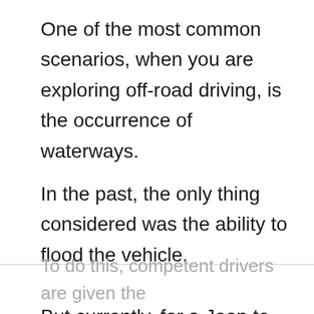One of the most common scenarios, when you are exploring off-road driving, is the occurrence of waterways.
In the past, the only thing considered was the ability to flood the vehicle.
But currently, for a Jeep to be awarded the Trail Rating badge, it has to demonstrate its ability to cross the most complicated waterways that it will be subjected to.
To do this, competent drivers are given the